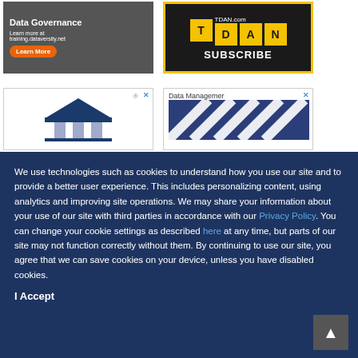[Figure (screenshot): Dataversity ad: 'Data Governance - Learn more at training.dataversity.net' with orange Learn More button]
[Figure (screenshot): TDAN.com Subscribe banner ad with yellow and black design]
[Figure (screenshot): Advertisement with blue building/bank icon and R registered trademark symbol]
[Figure (screenshot): Data Management advertisement banner with close X button]
We use technologies such as cookies to understand how you use our site and to provide a better user experience. This includes personalizing content, using analytics and improving site operations. We may share your information about your use of our site with third parties in accordance with our Privacy Policy. You can change your cookie settings as described here at any time, but parts of our site may not function correctly without them. By continuing to use our site, you agree that we can save cookies on your device, unless you have disabled cookies.
I Accept